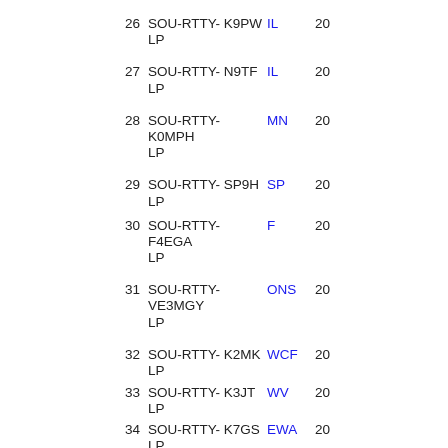26 SOU-RTTY- K9PW LP  IL  20
27 SOU-RTTY- N9TF LP  IL  20
28 SOU-RTTY- K0MPH LP  MN  20
29 SOU-RTTY- SP9H LP  SP  20
30 SOU-RTTY- F4EGA LP  F  20
31 SOU-RTTY- VE3MGY LP  ONS  20
32 SOU-RTTY- K2MK LP  WCF  20
33 SOU-RTTY- K3JT LP  WV  20
34 SOU-RTTY- K7GS LP  EWA  20